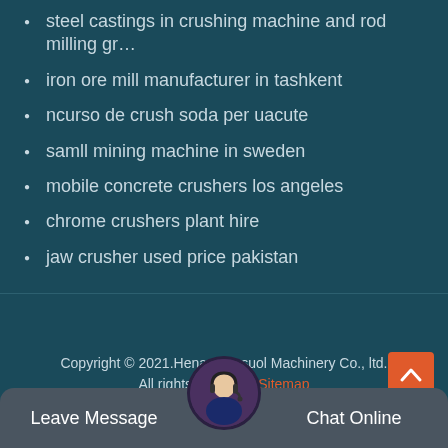steel castings in crushing machine and rod milling gr…
iron ore mill manufacturer in tashkent
ncurso de crush soda per uacute
samll mining machine in sweden
mobile concrete crushers los angeles
chrome crushers plant hire
jaw crusher used price pakistan
Copyright © 2021.Henan consuol Machinery Co., ltd. All rights reserved. Sitemap